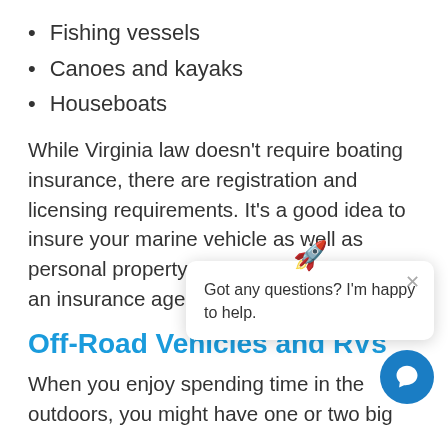Fishing vessels
Canoes and kayaks
Houseboats
While Virginia law doesn't require boating insurance, there are registration and licensing requirements. It's a good idea to insure your marine vehicle as well as personal property, however, so speak with an insurance agent to journey to aquatic
Off-Road Vehicles and RVs
When you enjoy spending time in the outdoors, you might have one or two big